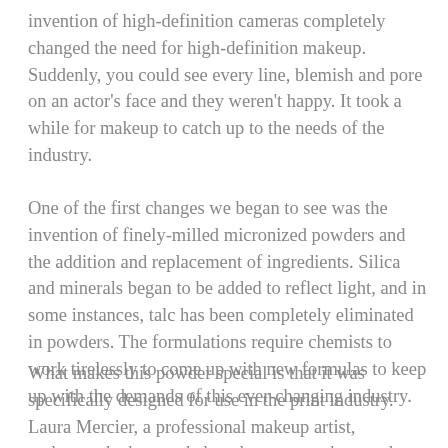invention of high-definition cameras completely changed the need for high-definition makeup.  Suddenly, you could see every line, blemish and pore on an actor's face and they weren't happy.  It took a while for makeup to catch up to the needs of the industry.
One of the first changes we began to see was the invention of finely-milled micronized powders and the addition and replacement of ingredients.  Silica and minerals began to be added to reflect light, and in some instances, talc has been completely eliminated in powders.  The formulations require chemists to work tirelessly to come up with new formulas to keep up with the demands of this ever-changing industry.
What makes this powder special is that it was specifically designed for use in the print industry.  Laura Mercier, a professional makeup artist, understood what needed to change to make powder less visible by high-definition